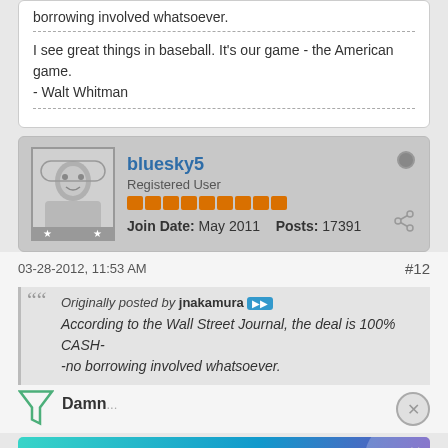borrowing involved whatsoever.
I see great things in baseball. It's our game - the American game.
- Walt Whitman
bluesky5
Registered User
Join Date: May 2011   Posts: 17391
03-28-2012, 11:53 AM
#12
Originally posted by jnakamura
According to the Wall Street Journal, the deal is 100% CASH--no borrowing involved whatsoever.
Damn...
[Figure (screenshot): Advertisement banner for HEADERBIDDING.COM - Your source for all things programmatic advertising.]
You need... Magazine in... been that has all now, he would have assumed contemporary machines.